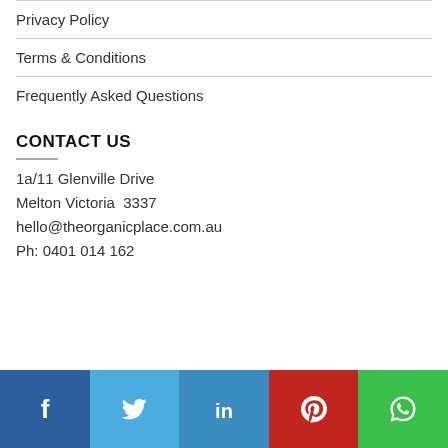Privacy Policy
Terms & Conditions
Frequently Asked Questions
CONTACT US
1a/11 Glenville Drive
Melton Victoria  3337
hello@theorganicplace.com.au
Ph: 0401 014 162
[Figure (infographic): Social media share bar with Facebook, Twitter, LinkedIn, Pinterest, and WhatsApp buttons]